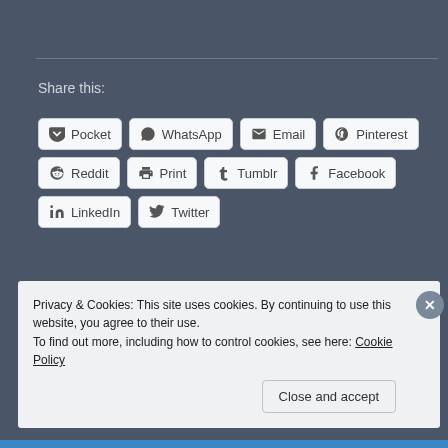Share this:
Pocket
WhatsApp
Email
Pinterest
Reddit
Print
Tumblr
Facebook
LinkedIn
Twitter
Loading...
Privacy & Cookies: This site uses cookies. By continuing to use this website, you agree to their use. To find out more, including how to control cookies, see here: Cookie Policy
Close and accept